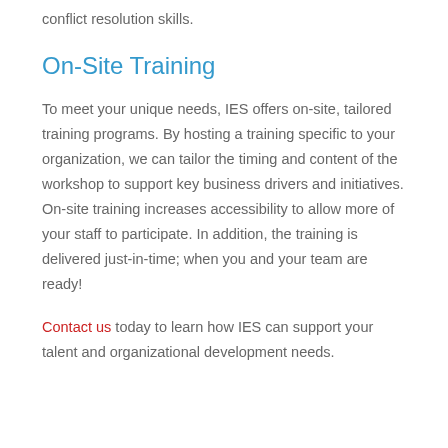conflict resolution skills.
On-Site Training
To meet your unique needs, IES offers on-site, tailored training programs. By hosting a training specific to your organization, we can tailor the timing and content of the workshop to support key business drivers and initiatives. On-site training increases accessibility to allow more of your staff to participate. In addition, the training is delivered just-in-time; when you and your team are ready!
Contact us today to learn how IES can support your talent and organizational development needs.